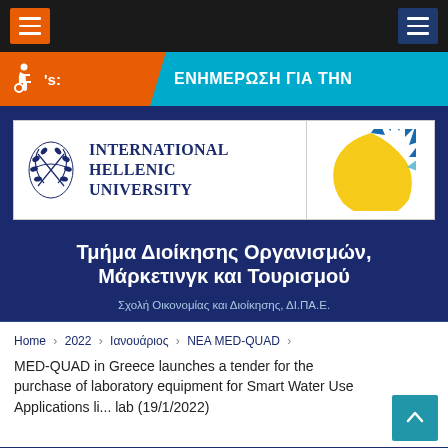[Figure (screenshot): Top navigation bar with orange hamburger menu on left and dark blue hamburger menu on right, on black background]
[Figure (screenshot): Accessibility bar in cyan/blue with orange section containing wheelchair icon and 's:' text, followed by Greek text 'ΕΝΗΜΕΡΩΣΗ ΓΙΑ ΤΗΝ']
[Figure (logo): International Hellenic University logo with olive wreath symbol and IHU text on left, MED-QUAD sunflower/fan logo on right, on white background]
Τμήμα Διοίκησης Οργανισμών, Μάρκετινγκ και Τουρισμού
Σχολή Οικονομίας και Διοίκησης, ΔΙ.ΠΑ.Ε.
Home > 2022 > Ιανουάριος > NEA MED-QUAD > MED-QUAD in Greece launches a tender for the purchase of laboratory equipment for Smart Water Use Applications li... lab (19/1/2022)